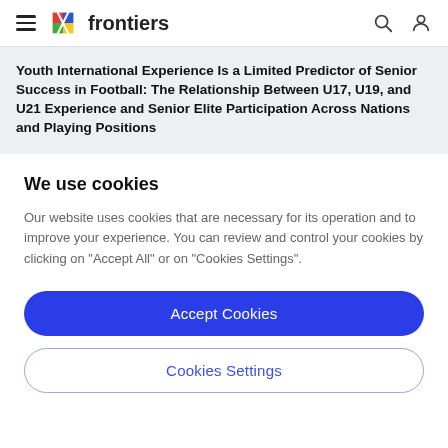frontiers
Youth International Experience Is a Limited Predictor of Senior Success in Football: The Relationship Between U17, U19, and U21 Experience and Senior Elite Participation Across Nations and Playing Positions
We use cookies
Our website uses cookies that are necessary for its operation and to improve your experience. You can review and control your cookies by clicking on "Accept All" or on "Cookies Settings".
Accept Cookies
Cookies Settings